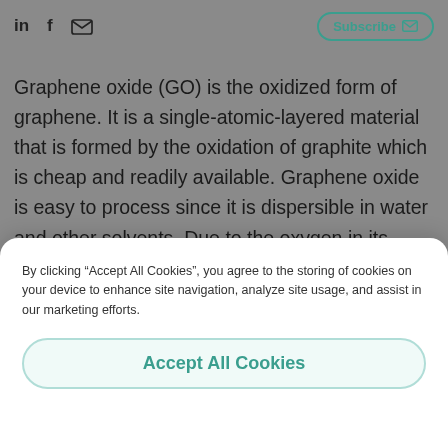in  f  [envelope]  Subscribe [envelope]
Graphene oxide (GO) is the oxidized form of graphene. It is a single-atomic-layered material that is formed by the oxidation of graphite which is cheap and readily available. Graphene oxide is easy to process since it is dispersible in water and other solvents. Due to the oxygen in its lattice graphene oxide is not conductive, but it can be reduced to graphene by chemical methods.
By clicking “Accept All Cookies”, you agree to the storing of cookies on your device to enhance site navigation, analyze site usage, and assist in our marketing efforts.
Accept All Cookies